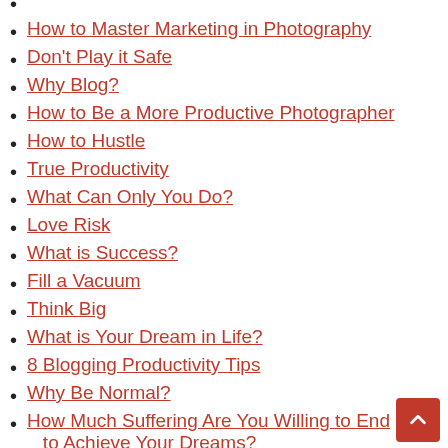How to Master Marketing in Photography
Don't Play it Safe
Why Blog?
How to Be a More Productive Photographer
How to Hustle
True Productivity
What Can Only You Do?
Love Risk
What is Success?
Fill a Vacuum
Think Big
What is Your Dream in Life?
8 Blogging Productivity Tips
Why Be Normal?
How Much Suffering Are You Willing to End to Achieve Your Dreams?